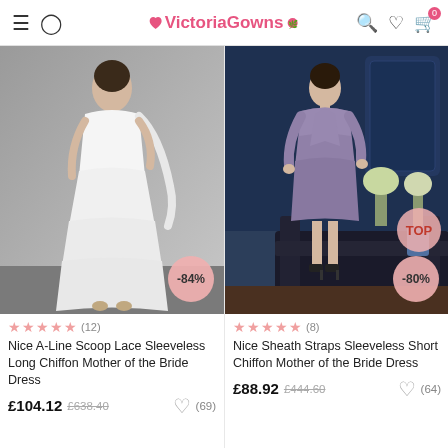VictoriaGowns
[Figure (photo): Woman in white sleeveless A-line scoop lace long chiffon dress with tiered skirt, holding a shawl, gray background. Discount badge: -84%]
[Figure (photo): Woman in purple/mauve sheath straps sleeveless short chiffon mother of bride dress with lace jacket, dark blue luxury room background. Discount badge: -80%, TOP badge]
★★★★★ (12)
★★★★★ (8)
Nice A-Line Scoop Lace Sleeveless Long Chiffon Mother of the Bride Dress
Nice Sheath Straps Sleeveless Short Chiffon Mother of the Bride Dress
£104.12  £638.40  ♡ (69)
£88.92  £444.60  ♡ (64)